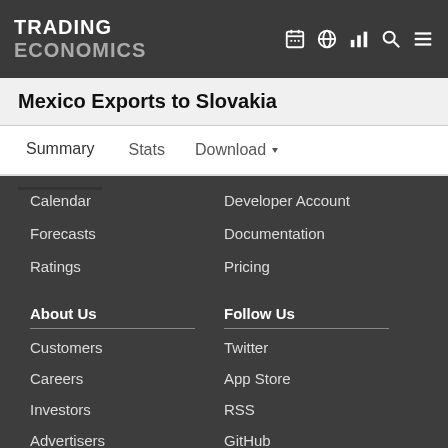TRADING ECONOMICS
Mexico Exports to Slovakia
Summary  Stats  Download
Calendar
Forecasts
Ratings
Developer Account
Documentation
Pricing
About Us
Follow Us
Customers
Careers
Investors
Advertisers
About us
Twitter
App Store
RSS
GitHub
Privacy
Copyright ©2022 TRADING ECONOMICS
All Rights Reserved